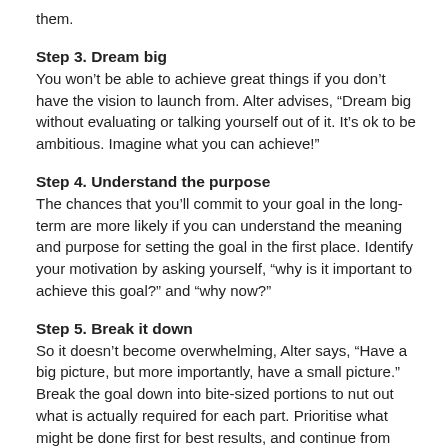them.
Step 3. Dream big
You won't be able to achieve great things if you don't have the vision to launch from. Alter advises, "Dream big without evaluating or talking yourself out of it. It's ok to be ambitious. Imagine what you can achieve!"
Step 4. Understand the purpose
The chances that you'll commit to your goal in the long-term are more likely if you can understand the meaning and purpose for setting the goal in the first place. Identify your motivation by asking yourself, "why is it important to achieve this goal?" and "why now?"
Step 5. Break it down
So it doesn't become overwhelming, Alter says, "Have a big picture, but more importantly, have a small picture." Break the goal down into bite-sized portions to nut out what is actually required for each part. Prioritise what might be done first for best results, and continue from there.